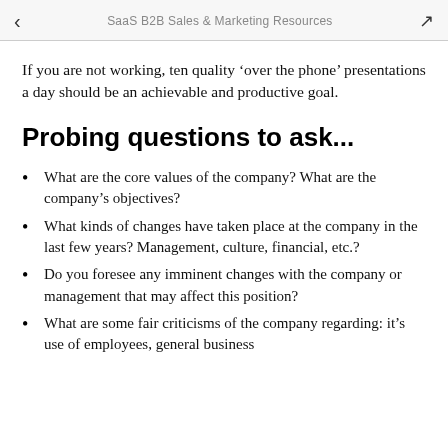SaaS B2B Sales & Marketing Resources
If you are not working, ten quality ‘over the phone’ presentations a day should be an achievable and productive goal.
Probing questions to ask...
What are the core values of the company? What are the company’s objectives?
What kinds of changes have taken place at the company in the last few years? Management, culture, financial, etc.?
Do you foresee any imminent changes with the company or management that may affect this position?
What are some fair criticisms of the company regarding: it’s use of employees, general business